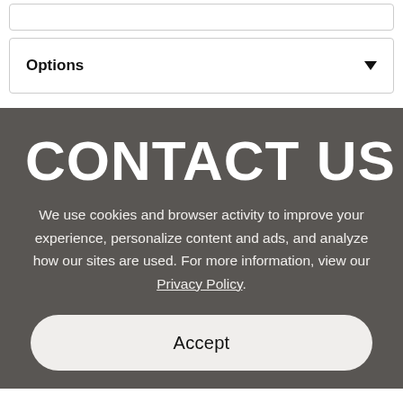[Figure (screenshot): Top white section with a narrow empty input box and a dropdown Options selector with downward arrow]
CONTACT US
We use cookies and browser activity to improve your experience, personalize content and ads, and analyze how our sites are used. For more information, view our Privacy Policy.
Accept